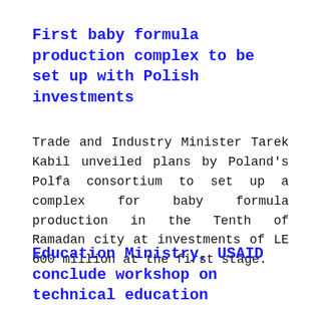First baby formula production complex to be set up with Polish investments
Trade and Industry Minister Tarek Kabil unveiled plans by Poland’s Polfa consortium to set up a complex for baby formula production in the Tenth of Ramadan city at investments of LE 600 million at the first stage.
Education Ministry, USAID conclude workshop on technical education